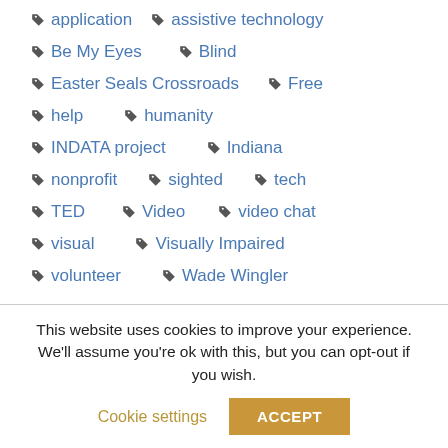application
assistive technology
Be My Eyes
Blind
Easter Seals Crossroads
Free
help
humanity
INDATA project
Indiana
nonprofit
sighted
tech
TED
Video
video chat
visual
Visually Impaired
volunteer
Wade Wingler
This website uses cookies to improve your experience. We'll assume you're ok with this, but you can opt-out if you wish.
Cookie settings
ACCEPT
View our complete web privacy policy here:
https://www.eastersealstech.com/privacy-practices/